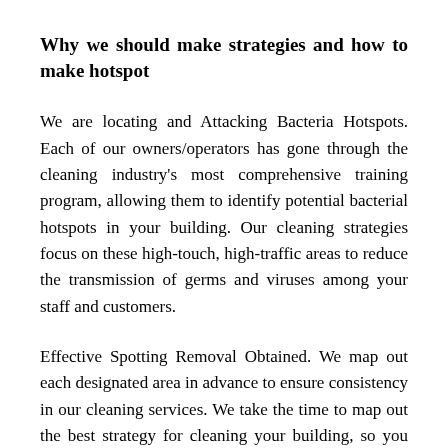Why we should make strategies and how to make hotspot
We are locating and Attacking Bacteria Hotspots. Each of our owners/operators has gone through the cleaning industry's most comprehensive training program, allowing them to identify potential bacterial hotspots in your building. Our cleaning strategies focus on these high-touch, high-traffic areas to reduce the transmission of germs and viruses among your staff and customers.
Effective Spotting Removal Obtained. We map out each designated area in advance to ensure consistency in our cleaning services. We take the time to map out the best strategy for cleaning your building, so you can be sure that your order will meet your needs or expectations.